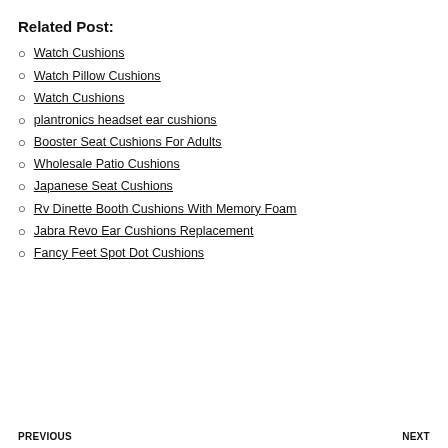Related Post:
Watch Cushions
Watch Pillow Cushions
Watch Cushions
plantronics headset ear cushions
Booster Seat Cushions For Adults
Wholesale Patio Cushions
Japanese Seat Cushions
Rv Dinette Booth Cushions With Memory Foam
Jabra Revo Ear Cushions Replacement
Fancy Feet Spot Dot Cushions
PREVIOUS    NEXT